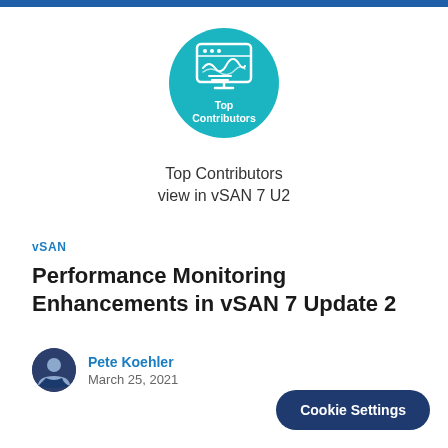[Figure (illustration): Teal circle badge icon with a monitor/chart illustration and text 'Top Contributors' inside]
Top Contributors
view in vSAN 7 U2
vSAN
Performance Monitoring Enhancements in vSAN 7 Update 2
Pete Koehler
March 25, 2021
Cookie Settings